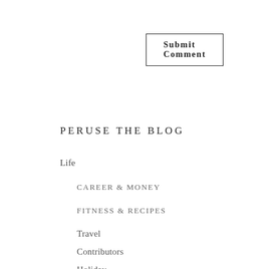Submit Comment
PERUSE THE BLOG
Life
CAREER & MONEY
FITNESS & RECIPES
Travel
Contributors
Holiday
Style